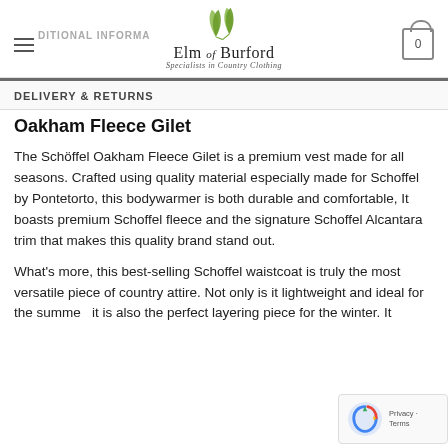Elm of Burford — Specialists in Country Clothing
DELIVERY & RETURNS
Oakham Fleece Gilet
The Schöffel Oakham Fleece Gilet is a premium vest made for all seasons. Crafted using quality material especially made for Schoffel by Pontetorto, this bodywarmer is both durable and comfortable, It boasts premium Schoffel fleece and the signature Schoffel Alcantara trim that makes this quality brand stand out.
What's more, this best-selling Schoffel waistcoat is truly the most versatile piece of country attire. Not only is it lightweight and ideal for the summer, it is also the perfect layering piece for the winter. It